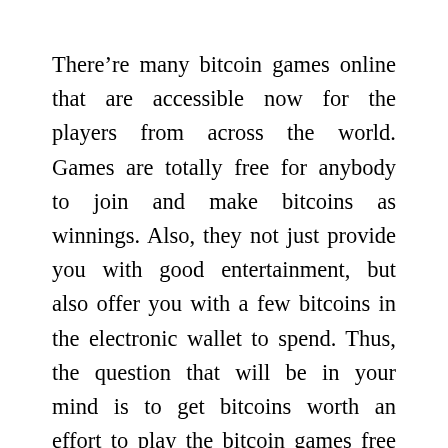There're many bitcoin games online that are accessible now for the players from across the world. Games are totally free for anybody to join and make bitcoins as winnings. Also, they not just provide you with good entertainment, but also offer you with a few bitcoins in the electronic wallet to spend. Thus, the question that will be in your mind is to get bitcoins worth an effort to play the bitcoin games free & earn them. Here we are going to show you some benefits, which are inherent in this currency and must make your fun time more satisfying by playing lotto games online.

The main benefit of bitcoin currency is it isn't